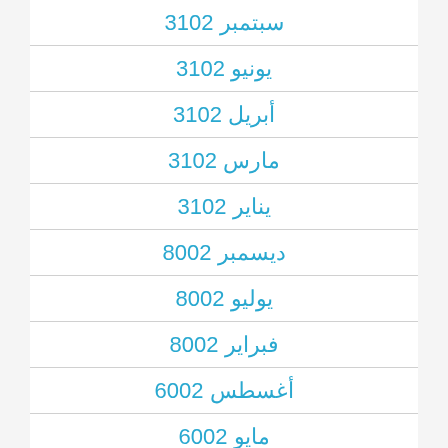سبتمبر 2013
يونيو 2013
أبريل 2013
مارس 2013
يناير 2013
ديسمبر 2008
يوليو 2008
فبراير 2008
أغسطس 2006
مايو 2006
ديسمبر 2005
نوفمبر 2005
يوليو 2005
يونيو 2005
أكتوبر 2004